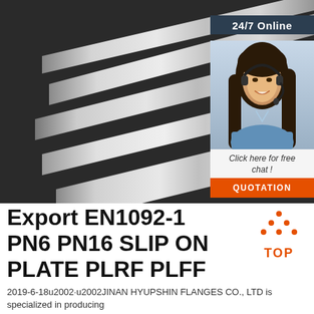[Figure (photo): Photo of stainless steel flat metal bars/plates arranged diagonally on a dark background]
[Figure (photo): Customer service agent (woman with headset) with '24/7 Online' label, 'Click here for free chat!' text, and orange QUOTATION button]
Export EN1092-1 PN6 PN16 SLIP ON PLATE PLRF PLFF
[Figure (logo): TOP logo with orange triangle/arrow icon above the text TOP]
2019-6-18u2002·u2002JINAN HYUPSHIN FLANGES CO., LTD is specialized in producing